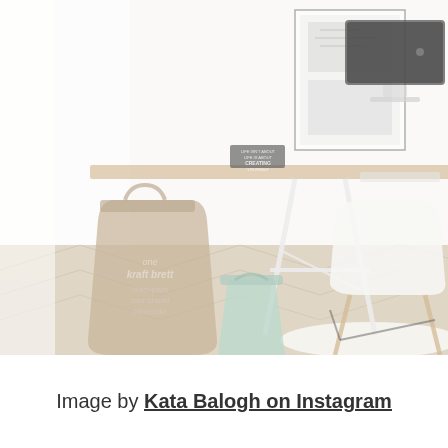[Figure (photo): A minimalist home office scene with a wooden trestle desk, Apple iMac computer, white Eames-style chair, brown kraft paper bag on the floor, a small mint green waste bin, herringbone pattern wooden floor, and a framed architectural poster on the wall. The image has a faded, washed-out white overlay aesthetic.]
Image by Kata Balogh on Instagram